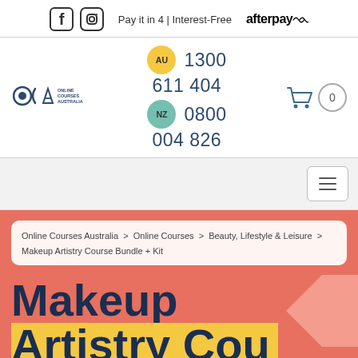Pay it in 4 | Interest-Free afterpay
[Figure (logo): OCA Online Courses Australia logo]
AU 1300 611 404 NZ 0800 004 826
[Figure (infographic): Shopping cart icon with badge showing 0]
[Figure (infographic): Hamburger menu button]
Online Courses Australia > Online Courses > Beauty, Lifestyle & Leisure > Makeup Artistry Course Bundle + Kit
Makeup Artistry Cou...